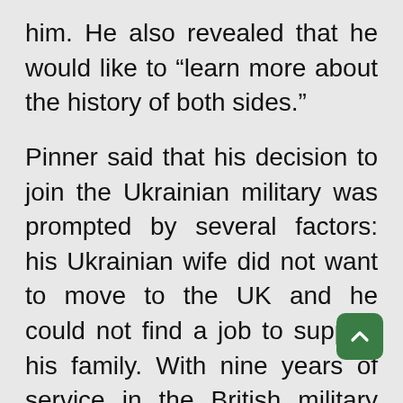him. He also revealed that he would like to “learn more about the history of both sides.”
Pinner said that his decision to join the Ukrainian military was prompted by several factors: his Ukrainian wife did not want to move to the UK and he could not find a job to support his family. With nine years of service in the British military behind him, Pinner decided to sign a three-year contract with the Ukrainian armed forces which would also provide him